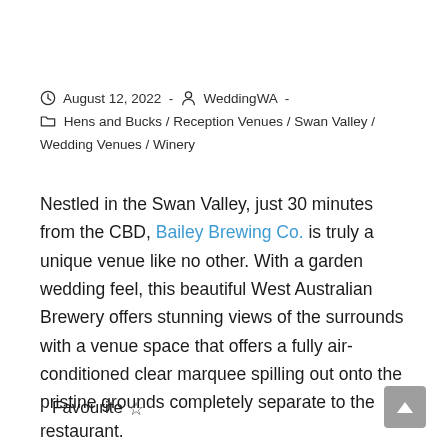August 12, 2022 - WeddingWA - Hens and Bucks / Reception Venues / Swan Valley / Wedding Venues / Winery
Nestled in the Swan Valley, just 30 minutes from the CBD, Bailey Brewing Co. is truly a unique venue like no other. With a garden wedding feel, this beautiful West Australian Brewery offers stunning views of the surrounds with a venue space that offers a fully air-conditioned clear marquee spilling out onto the pristine grounds completely separate to the restaurant.
Favourite ☆